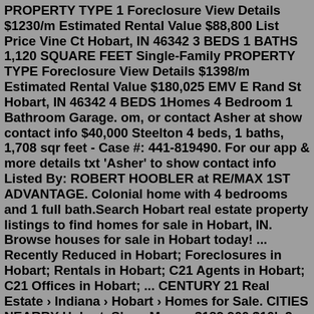PROPERTY TYPE 1 Foreclosure View Details $1230/m Estimated Rental Value $88,800 List Price Vine Ct Hobart, IN 46342 3 BEDS 1 BATHS 1,120 SQUARE FEET Single-Family PROPERTY TYPE Foreclosure View Details $1398/m Estimated Rental Value $180,025 EMV E Rand St Hobart, IN 46342 4 BEDS 1Homes 4 Bedroom 1 Bathroom Garage. om, or contact Asher at show contact info $40,000 Steelton 4 beds, 1 baths, 1,708 sqr feet - Case #: 441-819490. For our app & more details txt 'Asher' to show contact info Listed By: ROBERT HOOBLER at RE/MAX 1ST ADVANTAGE. Colonial home with 4 bedrooms and 1 full bath.Search Hobart real estate property listings to find homes for sale in Hobart, IN. Browse houses for sale in Hobart today! ... Recently Reduced in Hobart; Foreclosures in Hobart; Rentals in Hobart; C21 Agents in Hobart; C21 Offices in Hobart; ... CENTURY 21 Real Estate › Indiana › Hobart › Homes for Sale. CITIES NEARBY Hobart. Show More ...$189,900 $10k 3 bed 2 bath 1,720 sqft 0.4 acre lot 132 S Wilson St, Hobart, IN 46342 Email